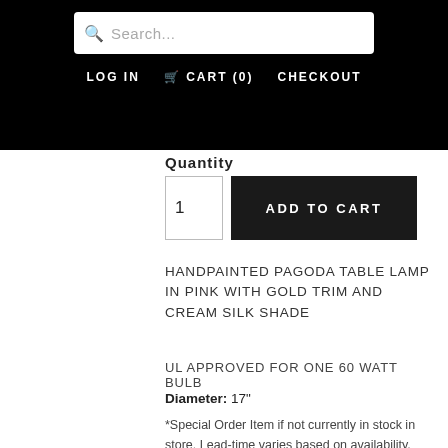Search... LOG IN  CART (0)  CHECKOUT
Quantity
1   ADD TO CART
HANDPAINTED PAGODA TABLE LAMP IN PINK WITH GOLD TRIM AND CREAM SILK SHADE
UL APPROVED FOR ONE 60 WATT BULB
Diameter: 17"
*Special Order Item if not currently in stock in store. Lead-time varies based on availability.